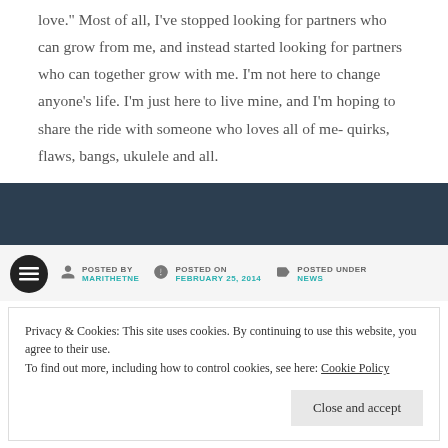love." Most of all, I've stopped looking for partners who can grow from me, and instead started looking for partners who can together grow with me. I'm not here to change anyone's life. I'm just here to live mine, and I'm hoping to share the ride with someone who loves all of me- quirks, flaws, bangs, ukulele and all.
POSTED BY MARITHETNE | POSTED ON FEBRUARY 25, 2014 | POSTED UNDER NEWS
Privacy & Cookies: This site uses cookies. By continuing to use this website, you agree to their use.
To find out more, including how to control cookies, see here: Cookie Policy